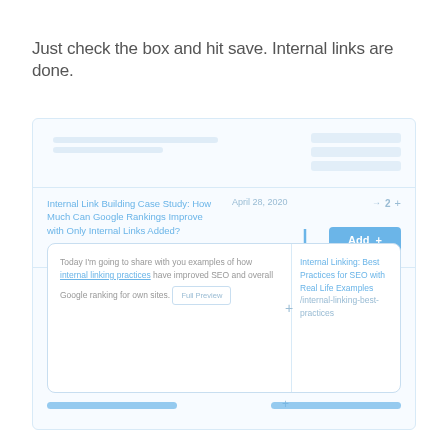Just check the box and hit save. Internal links are done.
[Figure (screenshot): UI screenshot showing an SEO internal link building tool interface. Features an article titled 'Internal Link Building Case Study: How Much Can Google Rankings Improve with Only Internal Links Added?' dated April 28, 2020, with an 'Add +' button highlighted. A connector line leads to a popup card showing article text about internal linking practices and a suggested link to 'Internal Linking: Best Practices for SEO with Real Life Examples /internal-linking-best-practices'.]